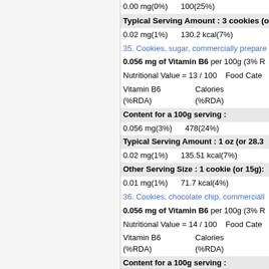0.00 mg(0%)   100(25%)
Typical Serving Amount : 3 cookies (o
0.02 mg(1%)   130.2 kcal(7%)
35. Cookies, sugar, commercially prepare
0.056 mg of Vitamin B6 per 100g (3% R
Nutritional Value = 13 / 100   Food Cate
Vitamin B6 (%RDA)   Calories (%RDA)
Content for a 100g serving :
0.056 mg(3%)   478(24%)
Typical Serving Amount : 1 oz (or 28.3
0.02 mg(1%)   135.51 kcal(7%)
Other Serving Size : 1 cookie (or 15g):
0.01 mg(1%)   71.7 kcal(4%)
36. Cookies, chocolate chip, commerciall
0.056 mg of Vitamin B6 per 100g (3% R
Nutritional Value = 14 / 100   Food Cate
Vitamin B6 (%RDA)   Calories (%RDA)
Content for a 100g serving :
0.056 mg(3%)   481(24%)
Typical Serving Amount : 1 oz (or 28.3
0.02 mg(1%)   136.36 kcal(7%)
Other Serving Size : 1 cookie, medium
0.01 mg(1%)   48.1 kcal(2%)
Other Serving Size : 1 cookie, bite size